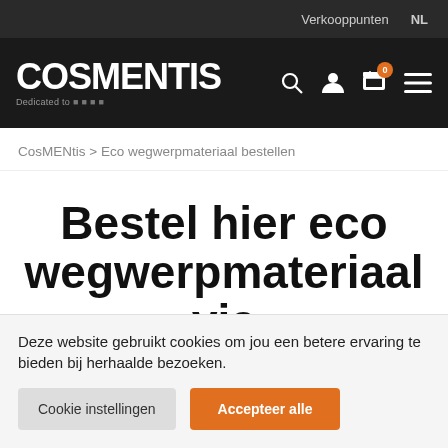Verkooppunten  NL
[Figure (logo): CosMENtis logo — bold white sans-serif text on black background with tagline 'Dedicated to...']
CosMENtis > Eco wegwerpmateriaal bestellen
Bestel hier eco wegwerpmateriaal via
Deze website gebruikt cookies om jou een betere ervaring te bieden bij herhaalde bezoeken.
Cookie instellingen   Accepteer alle